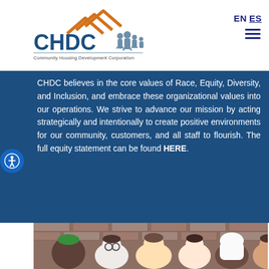[Figure (logo): CHDC Community Housing Development Corporation logo with orange roof/house shapes above and a family silhouette]
EN ES
CHDC believes in the core values of Race, Equity, Diversity, and Inclusion, and embrace these organizational values into our operations. We strive to advance our mission by acting strategically and intentionally to create positive environments for our community, customers, and all staff to flourish. The full equity statement can be found HERE.
[Figure (photo): Group of diverse smiling people in front of a brick wall]